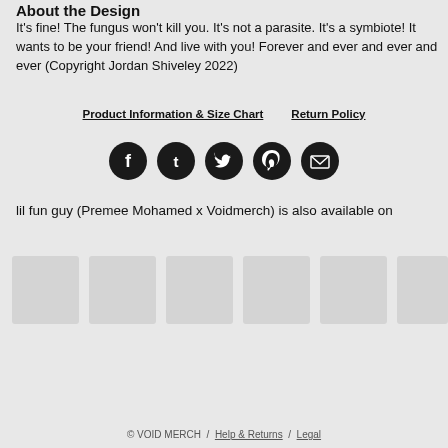About the Design
It's fine! The fungus won't kill you. It's not a parasite. It's a symbiote! It wants to be your friend! And live with you! Forever and ever and ever and ever (Copyright Jordan Shiveley 2022)
Product Information & Size Chart   Return Policy
[Figure (infographic): Five social share buttons (Facebook, Tumblr, Twitter, Pinterest, Email) as dark circular icons in a row]
lil fun guy (Premee Mohamed x Voidmerch) is also available on
[Figure (infographic): Row of six thumbnail product images (light gray placeholder boxes)]
© VOID MERCH  /  Help & Returns  /  Legal